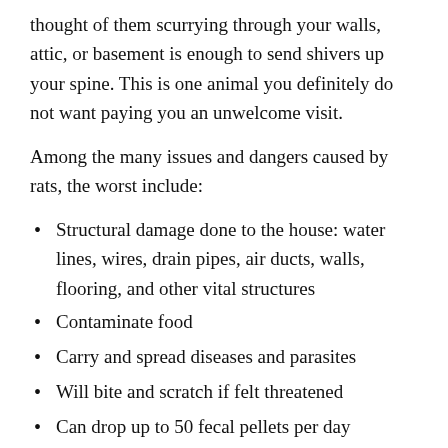thought of them scurrying through your walls, attic, or basement is enough to send shivers up your spine. This is one animal you definitely do not want paying you an unwelcome visit.
Among the many issues and dangers caused by rats, the worst include:
Structural damage done to the house: water lines, wires, drain pipes, air ducts, walls, flooring, and other vital structures
Contaminate food
Carry and spread diseases and parasites
Will bite and scratch if felt threatened
Can drop up to 50 fecal pellets per day
RAT REMOVAL PROCESS